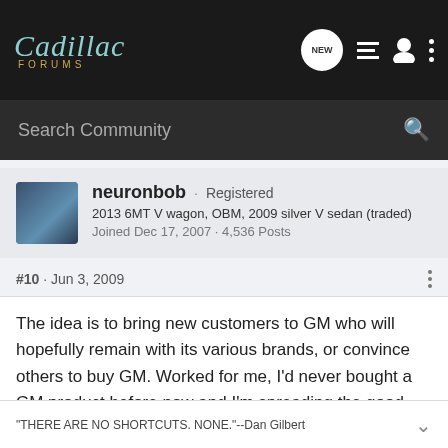Cadillac FORUMS
Search Community
neuronbob · Registered
2013 6MT V wagon, OBM, 2009 silver V sedan (traded)
Joined Dec 17, 2007 · 4,536 Posts
#10 · Jun 3, 2009
The idea is to bring new customers to GM who will hopefully remain with its various brands, or convince others to buy GM. Worked for me, I'd never bought a GM product before now and I'm spreading the good word about the V to everyone I can think of. It's not hard given that the V is a VERY solid product.
"THERE ARE NO SHORTCUTS. NONE."--Dan Gilbert